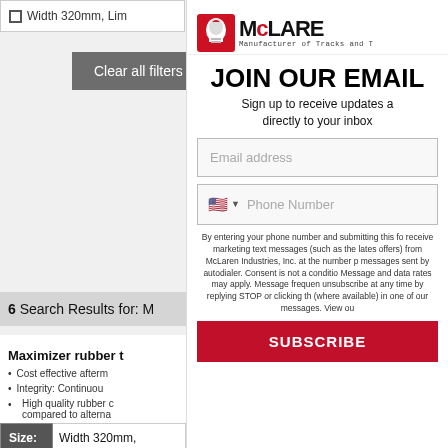Width 320mm, Lim...
Clear all filters
6 Search Results for: M...
Maximizer rubber t...
Cost effective afterm...
Integrity: Continuou...
High quality rubber c... compared to alterna...
Expected work life c...
Lower priced to fit th... restrictions
| Size: | Width 320mm,... |
| --- | --- |
| Ref: | US1989099 |
[Figure (logo): McLaren Industries logo with knight helmet icon and text 'McLaren, Manufacturer of Tracks and T...']
JOIN OUR EMAIL
Sign up to receive updates a... directly to your inbox...
Email address
Phone Number
By entering your phone number and submitting this fo... receive marketing text messages (such as the lates... offers) from McLaren Industries, Inc. at the number p... messages sent by autodialer. Consent is not a conditio... Message and data rates may apply. Message frequen... unsubscribe at any time by replying STOP or clicking th... (where available) in one of our messages. View ou...
SUBSCRIBE